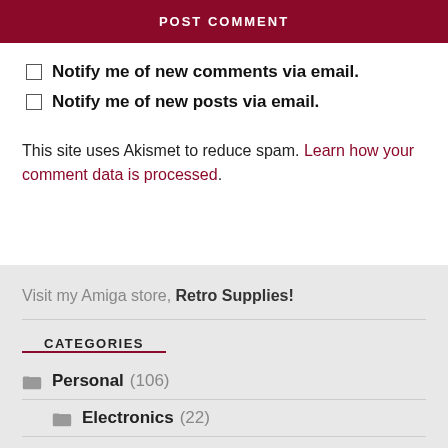POST COMMENT
Notify me of new comments via email.
Notify me of new posts via email.
This site uses Akismet to reduce spam. Learn how your comment data is processed.
Visit my Amiga store, Retro Supplies!
CATEGORIES
Personal (106)
Electronics (22)